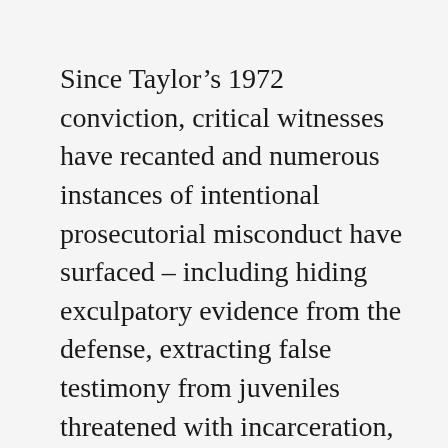Since Taylor’s 1972 conviction, critical witnesses have recanted and numerous instances of intentional prosecutorial misconduct have surfaced – including hiding exculpatory evidence from the defense, extracting false testimony from juveniles threatened with incarceration, and secretly speaking with a dismissed juror mid-trial to get a handle on the jury’s leanings. The case was suffused from the outset with intent to blame the “Negro” or “Colored boy.” Indeed, the prosecution’s chief fire expert revealed in deposition testimony in 2012 that,